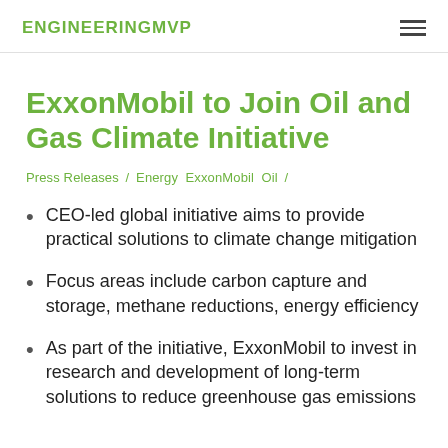ENGINEERINGMVP
ExxonMobil to Join Oil and Gas Climate Initiative
Press Releases / Energy ExxonMobil Oil /
CEO-led global initiative aims to provide practical solutions to climate change mitigation
Focus areas include carbon capture and storage, methane reductions, energy efficiency
As part of the initiative, ExxonMobil to invest in research and development of long-term solutions to reduce greenhouse gas emissions